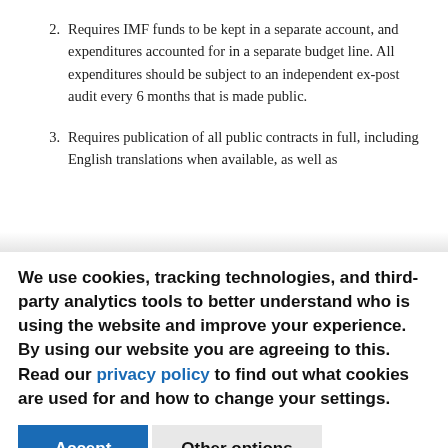2. Requires IMF funds to be kept in a separate account, and expenditures accounted for in a separate budget line. All expenditures should be subject to an independent ex-post audit every 6 months that is made public.
3. Requires publication of all public contracts in full, including English translations when available, as well as
We use cookies, tracking technologies, and third-party analytics tools to better understand who is using the website and improve your experience. By using our website you are agreeing to this. Read our privacy policy to find out what cookies are used for and how to change your settings.
Accept | Other options